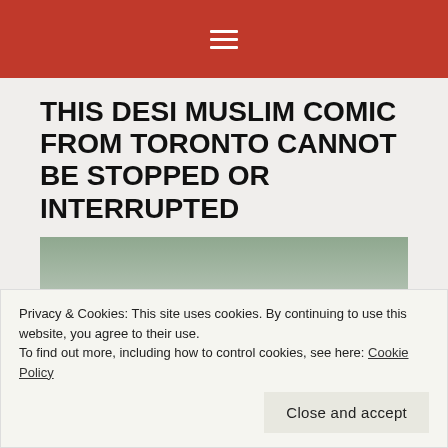☰
THIS DESI MUSLIM COMIC FROM TORONTO CANNOT BE STOPPED OR INTERRUPTED
[Figure (photo): Partial photo of a person against a sage green background, partially obscured by cookie consent banner]
Privacy & Cookies: This site uses cookies. By continuing to use this website, you agree to their use.
To find out more, including how to control cookies, see here: Cookie Policy
Close and accept